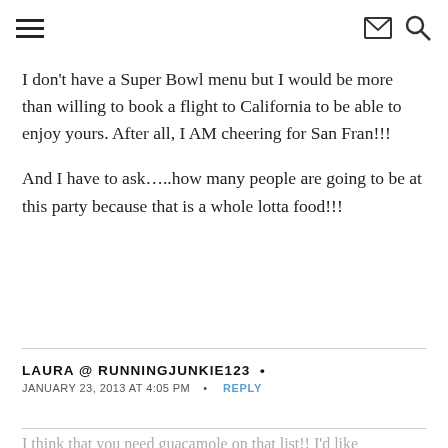≡ [menu icon] [mail icon] [search icon]
I don't have a Super Bowl menu but I would be more than willing to book a flight to California to be able to enjoy yours. After all, I AM cheering for San Fran!!!
And I have to ask…..how many people are going to be at this party because that is a whole lotta food!!!
LAURA @ RUNNINGJUNKIE123  •
JANUARY 23, 2013 AT 4:05 PM  •  REPLY
I think that you need guacamole on that list!! I'd like